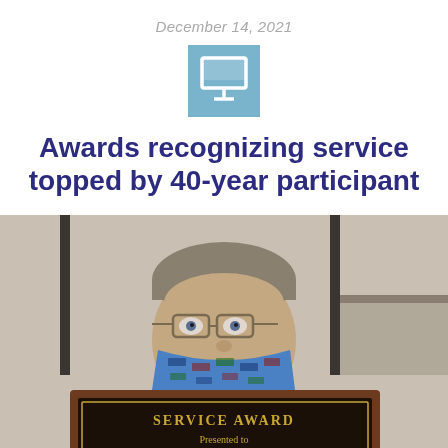December 14, 2021
[Figure (logo): Blue square icon with white computer monitor symbol]
Awards recognizing service topped by 40-year participant
[Figure (photo): A man wearing glasses and a blue patterned face mask holds up a wooden plaque that reads SERVICE AWARD / Presented to, photographed indoors]